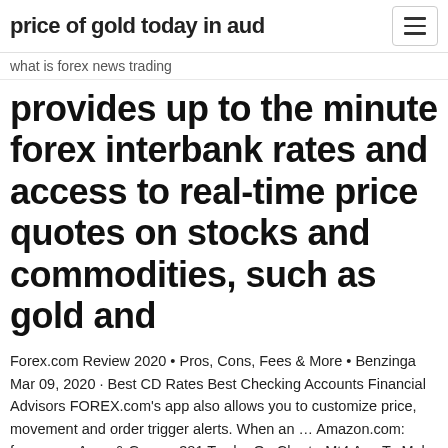price of gold today in aud
what is forex news trading
provides up to the minute forex interbank rates and access to real-time price quotes on stocks and commodities, such as gold and
Forex.com Review 2020 • Pros, Cons, Fees & More • Benzinga Mar 09, 2020 · Best CD Rates Best Checking Accounts Financial Advisors FOREX.com's app also allows you to customize price, movement and order trigger alerts. When an … Amazon.com: forex app: Apps & Games 381 Trader On Chart - Mt4 App To Make Forex Trading Easier. Jan 7, 2019. App FREE. Available instantly on compatible devices. Forex Currency Exchange Rates Commodities Prices. Sep 21, 2018. App FREE. Best Forex